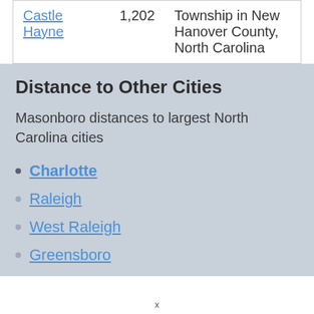| Castle Hayne | 1,202 | Township in New Hanover County, North Carolina |
Distance to Other Cities
Masonboro distances to largest North Carolina cities
Charlotte
Raleigh
West Raleigh
Greensboro